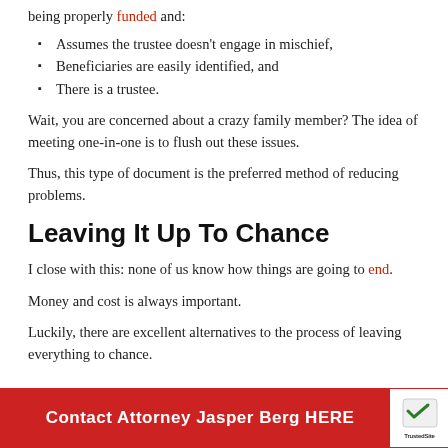being properly funded and:
Assumes the trustee doesn't engage in mischief,
Beneficiaries are easily identified, and
There is a trustee.
Wait, you are concerned about a crazy family member?  The idea of meeting one-in-one is to flush out these issues.
Thus, this type of document is the preferred method of reducing problems.
Leaving It Up To Chance
I close with this:  none of us know how things are going to end.
Money and cost is always important.
Luckily, there are excellent alternatives to the process of leaving everything to chance.
Contact Attorney Jasper Berg  HERE